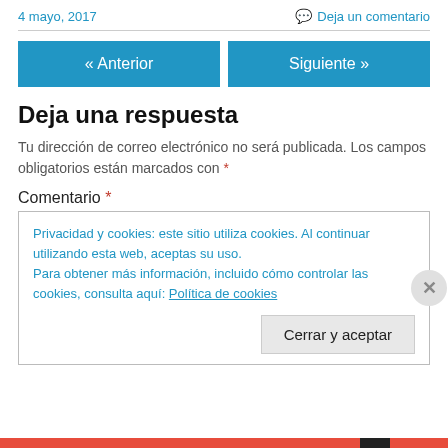4 mayo, 2017
Deja un comentario
« Anterior
Siguiente »
Deja una respuesta
Tu dirección de correo electrónico no será publicada. Los campos obligatorios están marcados con *
Comentario *
Privacidad y cookies: este sitio utiliza cookies. Al continuar utilizando esta web, aceptas su uso.
Para obtener más información, incluido cómo controlar las cookies, consulta aquí: Política de cookies
Cerrar y aceptar